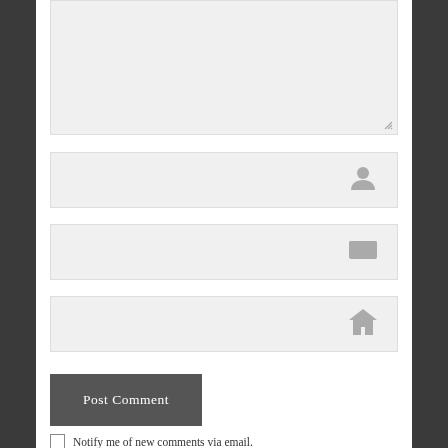[Figure (screenshot): Comment form textarea (large text input area with resize handle)]
[Figure (screenshot): Name input field with person icon]
[Figure (screenshot): Email input field with envelope icon]
[Figure (screenshot): Website/URL input field with house icon]
Post Comment
Notify me of new comments via email.